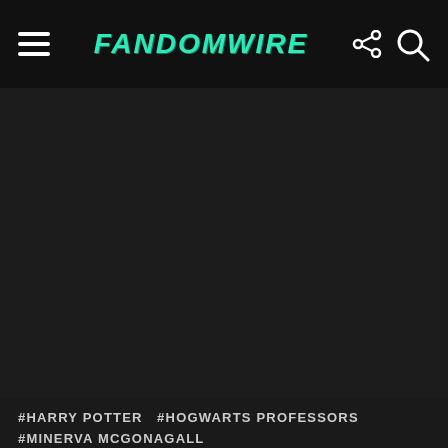FandomWire
[Figure (photo): Dark/black image area placeholder on FandomWire article page]
#HARRY POTTER  #HOGWARTS PROFESSORS  #MINERVA MCGONAGALL